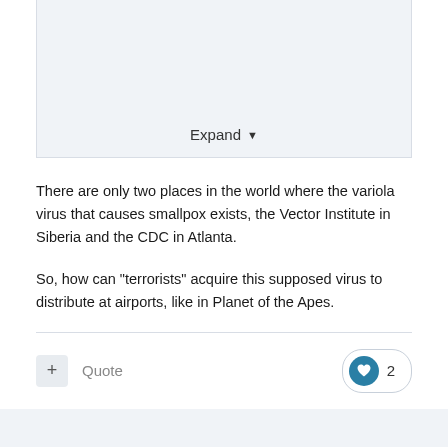[Figure (screenshot): Collapsed/expanded content panel with light blue-gray background and an Expand button with dropdown arrow at the bottom center]
There are only two places in the world where the variola virus that causes smallpox exists, the Vector Institute in Siberia and the CDC in Atlanta.
So, how can "terrorists" acquire this supposed virus to distribute at airports, like in Planet of the Apes.
+ Quote
2
Athenry04